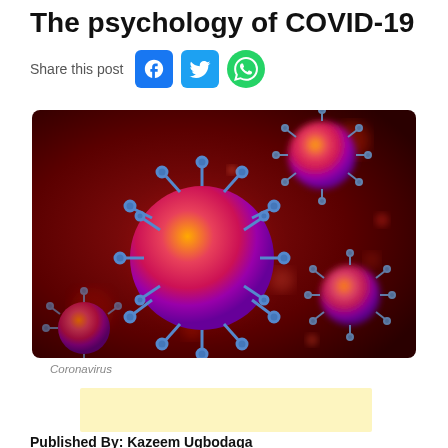The psychology of COVID-19
Share this post
[Figure (photo): 3D rendered microscopic illustration of coronavirus particles with spike proteins on a dark red background]
Coronavirus
Published By: Kazeem Ugbodaga